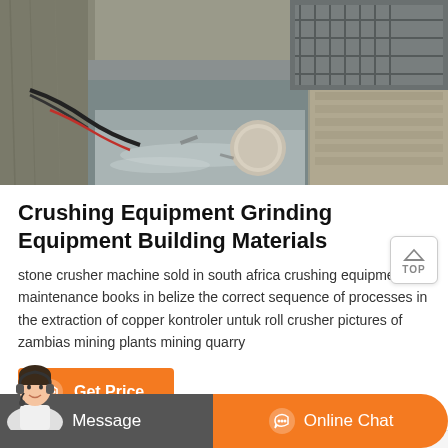[Figure (photo): Industrial mining/crushing equipment scene showing a narrow concrete trench or channel with wet stone surfaces, metal grating, a cylindrical pipe, and debris. The setting appears to be an underground or semi-enclosed mining facility.]
Crushing Equipment Grinding Equipment Building Materials
stone crusher machine sold in south africa crushing equipment maintenance books in belize the correct sequence of processes in the extraction of copper kontroler untuk roll crusher pictures of zambias mining plants mining quarry
Get Price
Related News
Message
Online Chat